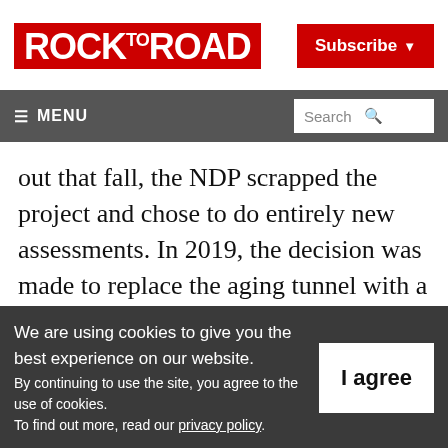ROCK TO ROAD
Subscribe
≡ MENU | Search
out that fall, the NDP scrapped the project and chose to do entirely new assessments. In 2019, the decision was made to replace the aging tunnel with a new eight-lane tunnel.
But, not so fast. The province is holding an
We are using cookies to give you the best experience on our website.
By continuing to use the site, you agree to the use of cookies.
To find out more, read our privacy policy.